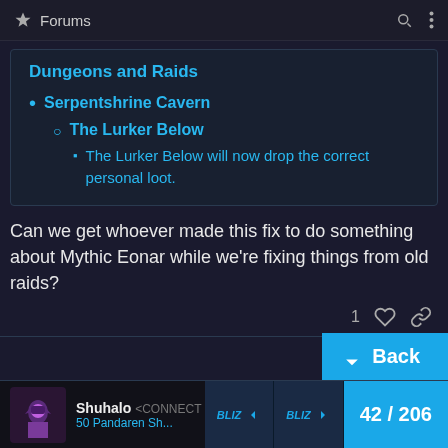Forums
Dungeons and Raids
Serpentshrine Cavern
The Lurker Below
The Lurker Below will now drop the correct personal loot.
Can we get whoever made this fix to do something about Mythic Eonar while we're fixing things from old raids?
1 ♡ 🔗
↓ Back
Shuhalo <CONNECT OUR REALM PLEASE> 50 Pandaren Sh...
42 / 206